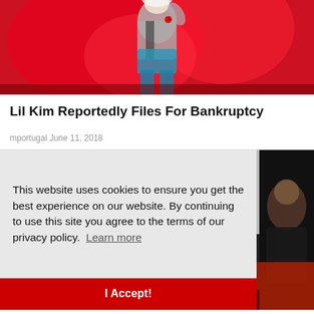[Figure (photo): A performer on stage with pink/red lighting, wearing a grey jacket and blue bottoms, with white hair, against a red background.]
Lil Kim Reportedly Files For Bankruptcy
mportugal June 11, 2018
This website uses cookies to ensure you get the best experience on our website. By continuing to use this site you agree to the terms of our privacy policy. Learn more
I Accept!
[Figure (photo): Partial view of people at an event, visible on the right side behind the cookie banner.]